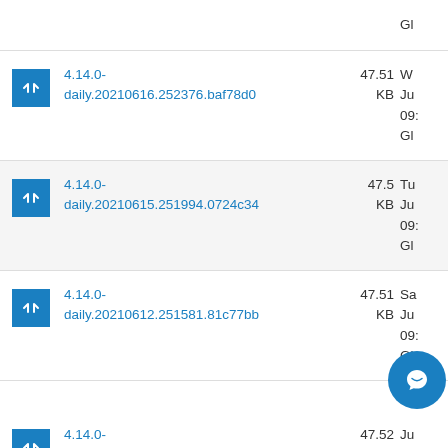Gl (partial, top row cut off)
4.14.0-daily.20210616.252376.baf78d0  47.51 KB  Wu Ju 09: Gl
4.14.0-daily.20210615.251994.0724c34  47.5 KB  Tu Ju 09: Gl
4.14.0-daily.20210612.251581.81c77bb  47.51 KB  Sa Ju 09: Gl
4.14.0-  47.52 Ju (partial, bottom row cut off)